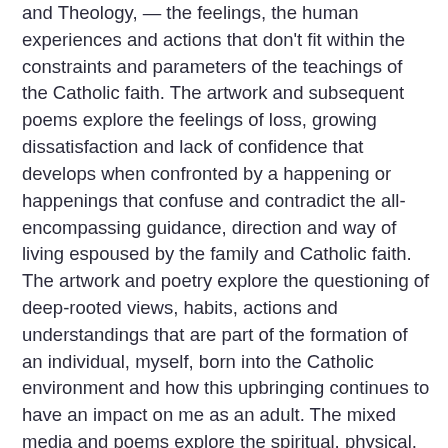and Theology, — the feelings, the human experiences and actions that don't fit within the constraints and parameters of the teachings of the Catholic faith. The artwork and subsequent poems explore the feelings of loss, growing dissatisfaction and lack of confidence that develops when confronted by a happening or happenings that confuse and contradict the all-encompassing guidance, direction and way of living espoused by the family and Catholic faith. The artwork and poetry explore the questioning of deep-rooted views, habits, actions and understandings that are part of the formation of an individual, myself, born into the Catholic environment and how this upbringing continues to have an impact on me as an adult. The mixed media and poems explore the spiritual, physical, habitual and visual effects on my upbringing and how these are difficult to reject and exist outside of. All works acrylic, embroidery, collage and found objects on board accompanied by Moth Baby poem collection